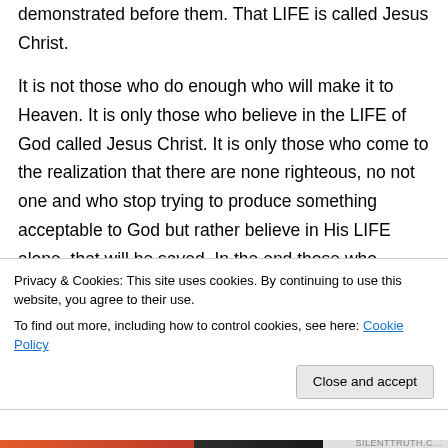demonstrated before them. That LIFE is called Jesus Christ.
It is not those who do enough who will make it to Heaven. It is only those who believe in the LIFE of God called Jesus Christ. It is only those who come to the realization that there are none righteous, no not one and who stop trying to produce something acceptable to God but rather believe in His LIFE alone, that will be saved. In the end those who believe will be swallowed up completely in His LIFE and only His
Privacy & Cookies: This site uses cookies. By continuing to use this website, you agree to their use.
To find out more, including how to control cookies, see here: Cookie Policy
Close and accept